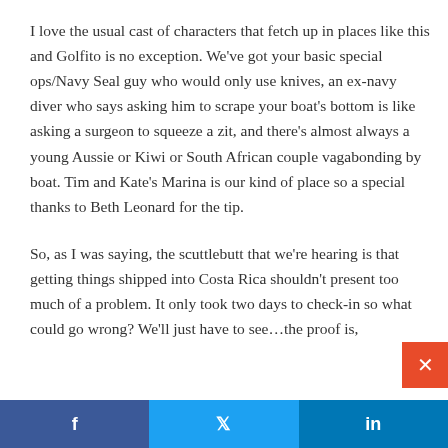I love the usual cast of characters that fetch up in places like this and Golfito is no exception. We've got your basic special ops/Navy Seal guy who would only use knives, an ex-navy diver who says asking him to scrape your boat's bottom is like asking a surgeon to squeeze a zit, and there's almost always a young Aussie or Kiwi or South African couple vagabonding by boat. Tim and Kate's Marina is our kind of place so a special thanks to Beth Leonard for the tip.
So, as I was saying, the scuttlebutt that we're hearing is that getting things shipped into Costa Rica shouldn't present too much of a problem. It only took two days to check-in so what could go wrong? We'll just have to see…the proof is,
f  t  in  ×